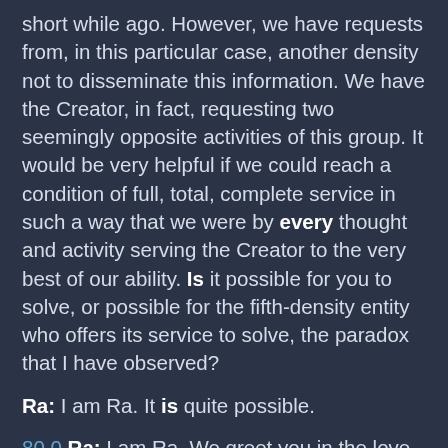short while ago. However, we have requests from, in this particular case, another density not to disseminate this information. We have the Creator, in fact, requesting two seemingly opposite activities of this group. It would be very helpful if we could reach a condition of full, total, complete service in such a way that we were by every thought and activity serving the Creator to the very best of our ability. Is it possible for you to solve, or possible for the fifth-density entity who offers its service to solve, the paradox that I have observed?
Ra: I am Ra. It is quite possible.
80.0 Ra: I am Ra. We greet you in the love and in the light of the One Infinite Creator.
Before we initiate this working we would wish to correct an error which we have found in previous material. That archetype, Five, which you have called the Hierophant, is the Significator of the Mind.